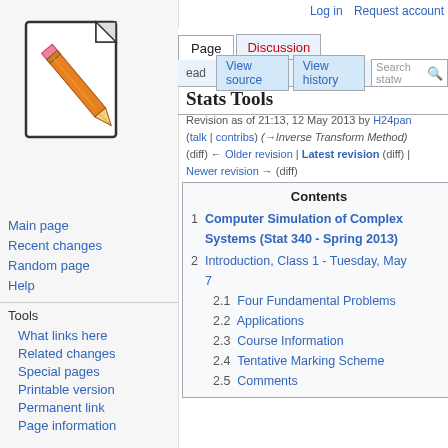Log in  Request account
[Figure (illustration): Wikipedia-style wiki logo: a document page with a pencil icon overlaid]
Main page
Recent changes
Random page
Help
Tools
What links here
Related changes
Special pages
Printable version
Permanent link
Page information
Stats Tools
Revision as of 21:13, 12 May 2013 by H24pan (talk | contribs) (→Inverse Transform Method) (diff) ← Older revision | Latest revision (diff) | Newer revision → (diff)
| Contents |
| --- |
| 1 Computer Simulation of Complex Systems (Stat 340 - Spring 2013) |
| 2 Introduction, Class 1 - Tuesday, May 7 |
| 2.1 Four Fundamental Problems |
| 2.2 Applications |
| 2.3 Course Information |
| 2.4 Tentative Marking Scheme |
| 2.5 Comments |